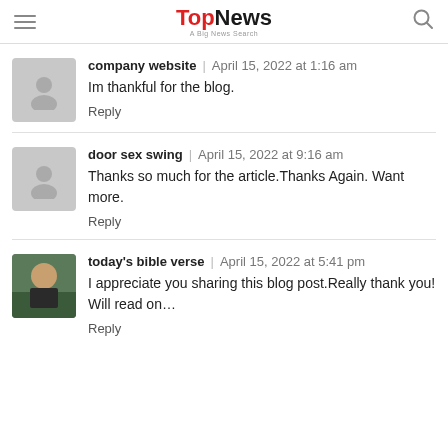TopNews | A Big News Search
company website | April 15, 2022 at 1:16 am
Im thankful for the blog.
Reply
door sex swing | April 15, 2022 at 9:16 am
Thanks so much for the article.Thanks Again. Want more.
Reply
today's bible verse | April 15, 2022 at 5:41 pm
I appreciate you sharing this blog post.Really thank you! Will read on…
Reply